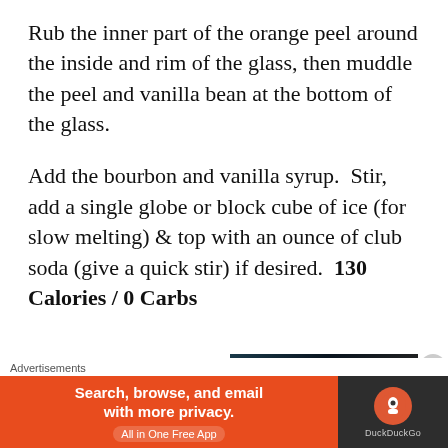Rub the inner part of the orange peel around the inside and rim of the glass, then muddle the peel and vanilla bean at the bottom of the glass.
Add the bourbon and vanilla syrup.  Stir, add a single globe or block cube of ice (for slow melting) & top with an ounce of club soda (give a quick stir) if desired.  130 Calories / 0 Carbs
Arctic Mule
[Figure (photo): Partial photo of a drink or cocktail, mostly dark/black background with a teal/blue blurred highlight visible.]
Advertisements
[Figure (other): DuckDuckGo advertisement banner: orange background with text 'Search, browse, and email with more privacy. All in One Free App' and DuckDuckGo logo on dark right panel.]